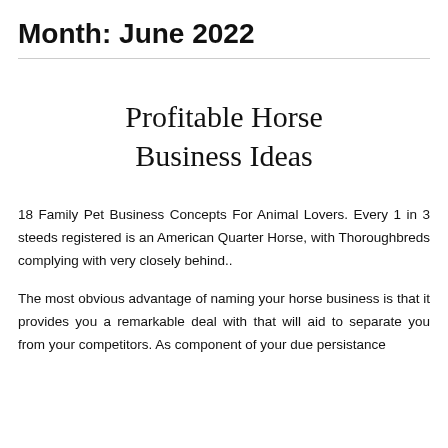Month: June 2022
Profitable Horse Business Ideas
18 Family Pet Business Concepts For Animal Lovers. Every 1 in 3 steeds registered is an American Quarter Horse, with Thoroughbreds complying with very closely behind..
The most obvious advantage of naming your horse business is that it provides you a remarkable deal with that will aid to separate you from your competitors. As component of your due persistance